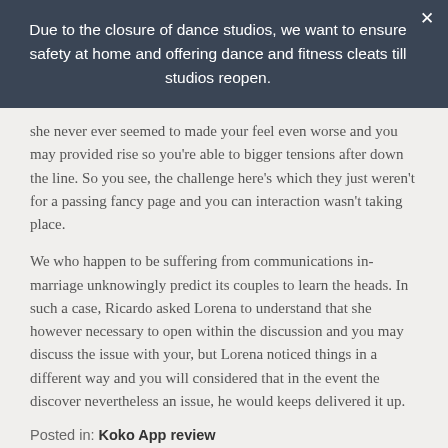Due to the closure of dance studios, we want to ensure safety at home and offering dance and fitness cleats till studios reopen.
she never ever seemed to made your feel even worse and you may provided rise so you're able to bigger tensions after down the line. So you see, the challenge here's which they just weren't for a passing fancy page and you can interaction wasn't taking place.
We who happen to be suffering from communications in-marriage unknowingly predict its couples to learn the heads. In such a case, Ricardo asked Lorena to understand that she however necessary to open within the discussion and you may discuss the issue with your, but Lorena noticed things in a different way and you will considered that in the event the discover nevertheless an issue, he would keeps delivered it up.
Posted in: Koko App review